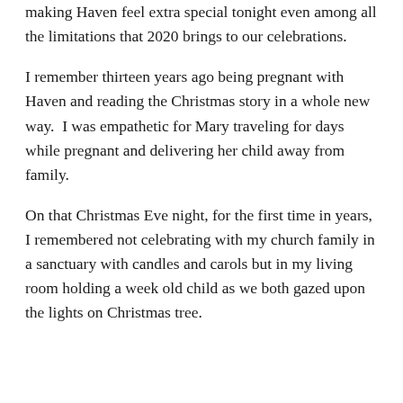making Haven feel extra special tonight even among all the limitations that 2020 brings to our celebrations.
I remember thirteen years ago being pregnant with Haven and reading the Christmas story in a whole new way.  I was empathetic for Mary traveling for days while pregnant and delivering her child away from family.
On that Christmas Eve night, for the first time in years, I remembered not celebrating with my church family in a sanctuary with candles and carols but in my living room holding a week old child as we both gazed upon the lights on Christmas tree.